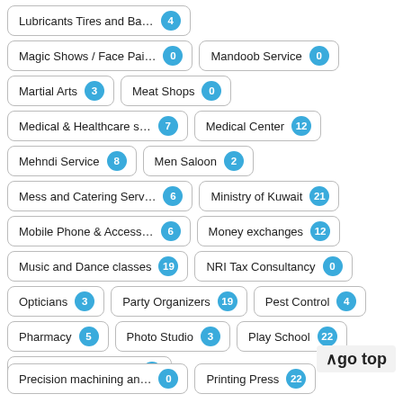Lubricants Tires and Ba... 4
Magic Shows / Face Pai... 0
Mandoob Service 0
Martial Arts 3
Meat Shops 0
Medical & Healthcare s... 7
Medical Center 12
Mehndi Service 8
Men Saloon 2
Mess and Catering Serv... 6
Ministry of Kuwait 21
Mobile Phone & Access... 6
Money exchanges 12
Music and Dance classes 19
NRI Tax Consultancy 0
Opticians 3
Party Organizers 19
Pest Control 4
Pharmacy 5
Photo Studio 3
Play School 22
Plumbing & Electricals 21
Precision machining an... 0
Printing Press 22